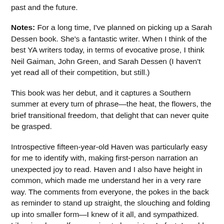past and the future.
Notes: For a long time, I've planned on picking up a Sarah Dessen book. She's a fantastic writer. When I think of the best YA writers today, in terms of evocative prose, I think Neil Gaiman, John Green, and Sarah Dessen (I haven't yet read all of their competition, but still.)
This book was her debut, and it captures a Southern summer at every turn of phrase—the heat, the flowers, the brief transitional freedom, that delight that can never quite be grasped.
Introspective fifteen-year-old Haven was particularly easy for me to identify with, making first-person narration an unexpected joy to read. Haven and I also have height in common, which made me understand her in a very rare way. The comments from everyone, the pokes in the back as reminder to stand up straight, the slouching and folding up into smaller form—I knew of it all, and sympathized. Likewise, her self-comparing to her sister. In fact, I could have accepted more of this from her. For me, height